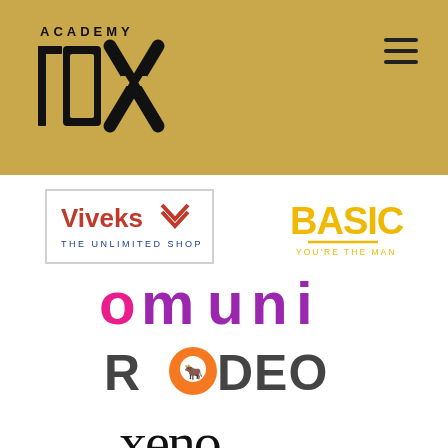[Figure (logo): Academy 10X logo in dark/black with gold background, top left of header]
[Figure (logo): Hamburger menu icon (three horizontal lines) top right of header]
[Figure (logo): Viveks - The Unlimited Shop logo, red and blue text with checkmark swoosh, bordered rectangle]
[Figure (logo): BASICS - YOU'RE THE MAN logo in yellow bold text]
[Figure (logo): omuni logo in pink and purple rounded letters]
[Figure (logo): RODEO logo in dark grey letters with orange circle containing white cow head icon replacing the O]
[Figure (logo): xeno logo in large black lowercase letters]